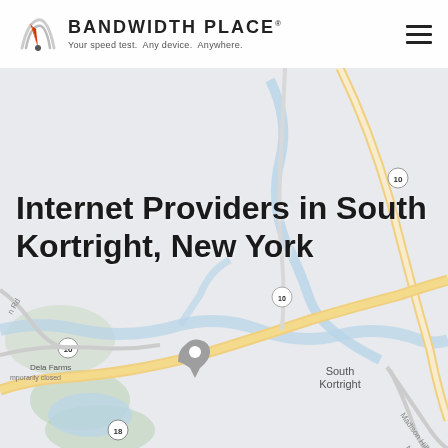[Figure (map): Google Maps view of South Kortright, New York area showing roads including Route 10 and Route 18, Madison Hill Rd, a river/creek, and location markers including Dela Farms (temporarily closed) and South Kortright label.]
BANDWIDTH PLACE - Your speed test. Any device. Anywhere.
Internet Providers in South Kortright, New York